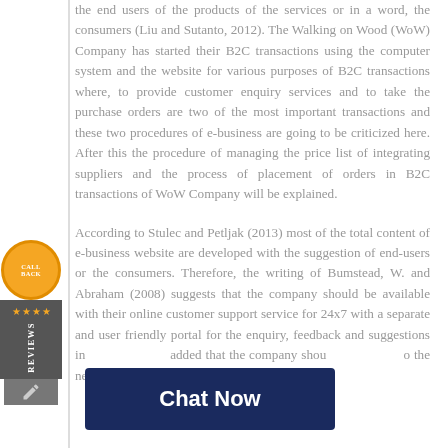the end users of the products of the services or in a word, the consumers (Liu and Sutanto, 2012). The Walking on Wood (WoW) Company has started their B2C transactions using the computer system and the website for various purposes of B2C transactions where, to provide customer enquiry services and to take the purchase orders are two of the most important transactions and these two procedures of e-business are going to be criticized here. After this the procedure of managing the price list of integrating suppliers and the process of placement of orders in B2C transactions of WoW Company will be explained.
[Figure (other): Sidebar widget with orange circular 'Call Back' button, star ratings, 'Reviews' label, and pencil icon on dark grey background]
According to Stulec and Petljak (2013) most of the total content of e-business website are developed with the suggestion of end-users or the consumers. Therefore, the writing of Bumstead, W. and Abraham (2008) suggests that the company should be available with their online customer support service for 24x7 with a separate and user friendly portal for the enquiry, feedback and suggestions in [obscured] added that the company shou[obscured] the negative feed[obscured]
[Figure (other): Dark navy blue 'Chat Now' button overlay at bottom of page]